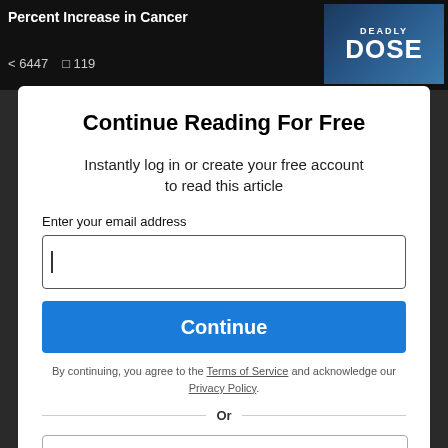Percent Increase in Cancer
< 6447   119
Continue Reading For Free
Instantly log in or create your free account to read this article
Enter your email address
By continuing, you agree to the Terms of Service and acknowledge our Privacy Policy.
Or
Continue with Google